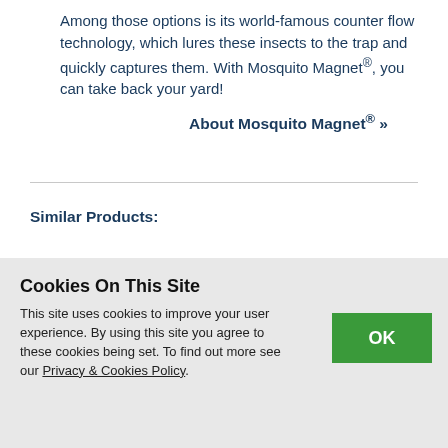Among those options is its world-famous counter flow technology, which lures these insects to the trap and quickly captures them. With Mosquito Magnet®, you can take back your yard!
About Mosquito Magnet® »
Similar Products:
[Figure (photo): A white plastic jug container with a red cap, similar to a liquid fertilizer or pesticide container.]
[Figure (photo): A green and grey Mosquito Magnet mosquito trap device on a stand.]
Cookies On This Site
This site uses cookies to improve your user experience. By using this site you agree to these cookies being set. To find out more see our Privacy & Cookies Policy.
OK